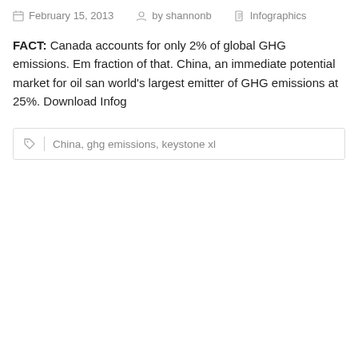February 15, 2013   by shannonb   Infographics
FACT: Canada accounts for only 2% of global GHG emissions. Em fraction of that. China, an immediate potential market for oil san world's largest emitter of GHG emissions at 25%. Download Infog
China, ghg emissions, keystone xl